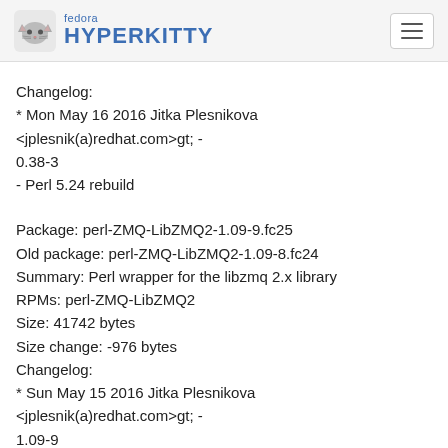fedora HYPERKITTY
Changelog:
* Mon May 16 2016 Jitka Plesnikova <jplesnik(a)redhat.com&gt; - 0.38-3
- Perl 5.24 rebuild
Package: perl-ZMQ-LibZMQ2-1.09-9.fc25
Old package: perl-ZMQ-LibZMQ2-1.09-8.fc24
Summary: Perl wrapper for the libzmq 2.x library
RPMs: perl-ZMQ-LibZMQ2
Size: 41742 bytes
Size change: -976 bytes
Changelog:
* Sun May 15 2016 Jitka Plesnikova <jplesnik(a)redhat.com&gt; - 1.09-9
- Perl 5.24 rebuild
Package: perl-ZMQ-LibZMQ3-1.19-5.fc25
Old package: perl-ZMQ-LibZMQ3-1.19-4.fc24